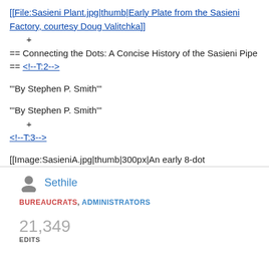[[File:Sasieni Plant.jpg|thumb|Early Plate from the Sasieni Factory, courtesy Doug Valitchka]]
+
== Connecting the Dots: A Concise History of the Sasieni Pipe == <!--T:2-->
'''By Stephen P. Smith'''
'''By Stephen P. Smith'''
    +
<!--T:3-->
[[Image:SasieniA.jpg|thumb|300px|An early 8-dot
Sethile
BUREAUCRATS, ADMINISTRATORS
21,349 EDITS